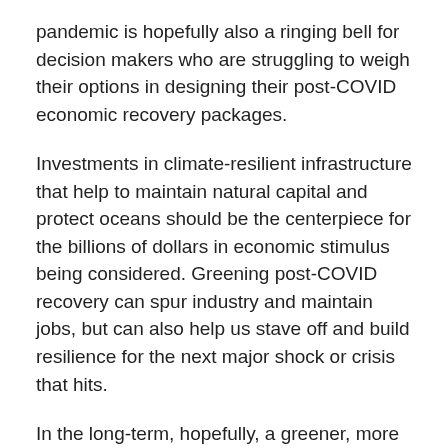pandemic is hopefully also a ringing bell for decision makers who are struggling to weigh their options in designing their post-COVID economic recovery packages.
Investments in climate-resilient infrastructure that help to maintain natural capital and protect oceans should be the centerpiece for the billions of dollars in economic stimulus being considered. Greening post-COVID recovery can spur industry and maintain jobs, but can also help us stave off and build resilience for the next major shock or crisis that hits.
In the long-term, hopefully, a greener, more balanced growth pathway in the Asia Pacific region will become our ‘new normal’.
Published: 6 May 2020